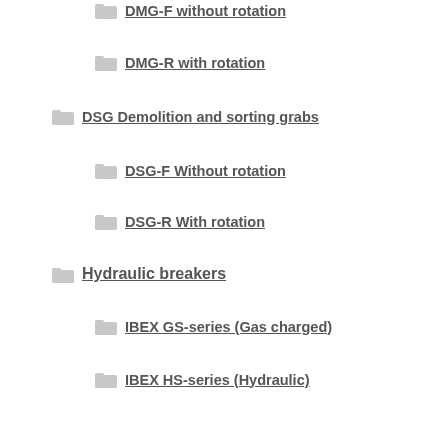DMG-F without rotation
DMG-R with rotation
DSG Demolition and sorting grabs
DSG-F Without rotation
DSG-R With rotation
Hydraulic breakers
IBEX GS-series (Gas charged)
IBEX HS-series (Hydraulic)
Hydraulic compactors
Hyrax-series
KHP-series
Hydraulic crushers
Multisystems
Pulverisers